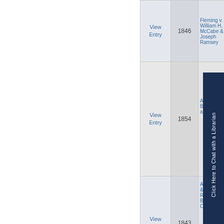| Link | Year | Case Name |
| --- | --- | --- |
| View Entry | 1846 | Fleming v. William H. McCabe & Joseph Ramsey |
| View Entry | 1854 | Alfred M... B. G. Wh... al. |
| View Entry | 1843 | Aguilla D... & Thomas Richards... Benjamin Clayton,... |
|  |  | Arnold & |